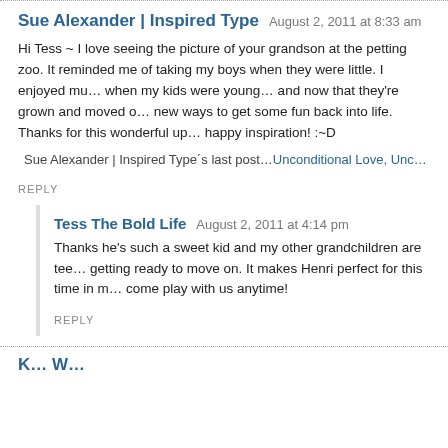Sue Alexander | Inspired Type — August 2, 2011 at 8:33 am
Hi Tess ~ I love seeing the picture of your grandson at the petting zoo. It reminded me of taking my boys when they were little. I enjoyed much when my kids were young… and now that they're grown and moved on, new ways to get some fun back into life. Thanks for this wonderful up… happy inspiration! :~D
Sue Alexander | Inspired Type´s last post…Unconditional Love, Unc…
REPLY
Tess The Bold Life — August 2, 2011 at 4:14 pm
Thanks he's such a sweet kid and my other grandchildren are tee… getting ready to move on. It makes Henri perfect for this time in m… come play with us anytime!
REPLY